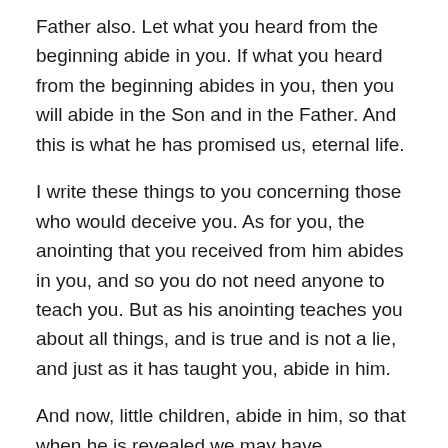Father also. Let what you heard from the beginning abide in you. If what you heard from the beginning abides in you, then you will abide in the Son and in the Father. And this is what he has promised us, eternal life.
I write these things to you concerning those who would deceive you. As for you, the anointing that you received from him abides in you, and so you do not need anyone to teach you. But as his anointing teaches you about all things, and is true and is not a lie, and just as it has taught you, abide in him.
And now, little children, abide in him, so that when he is revealed we may have confidence and not be put to shame before him at his coming.
HYMN: George Croly